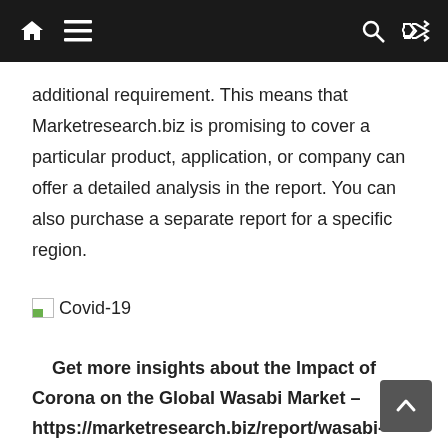Navigation bar with home, menu, search, and random icons
additional requirement. This means that Marketresearch.biz is promising to cover a particular product, application, or company can offer a detailed analysis in the report. You can also purchase a separate report for a specific region.
[Figure (other): Broken image placeholder with green triangle, labeled Covid-19]
Get more insights about the Impact of Corona on the Global Wasabi Market – https://marketresearch.biz/report/wasabi-market/#inquiry